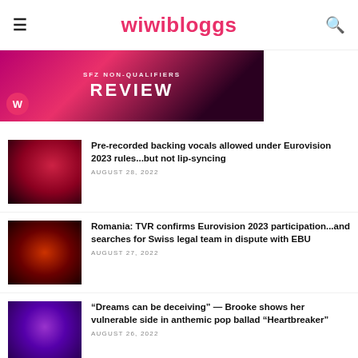wiwibloggs
[Figure (photo): Hero banner image with text 'REVIEW' on pink/dark background]
Pre-recorded backing vocals allowed under Eurovision 2023 rules...but not lip-syncing
AUGUST 28, 2022
Romania: TVR confirms Eurovision 2023 participation...and searches for Swiss legal team in dispute with EBU
AUGUST 27, 2022
“Dreams can be deceiving” — Brooke shows her vulnerable side in anthemic pop ballad “Heartbreaker”
AUGUST 26, 2022